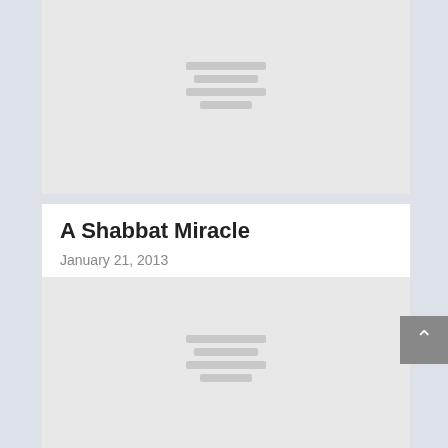[Figure (illustration): Gray placeholder image with horizontal lines indicating an unloaded image thumbnail]
A Shabbat Miracle
January 21, 2013
[Figure (illustration): Second gray placeholder image with horizontal lines indicating an unloaded image thumbnail]